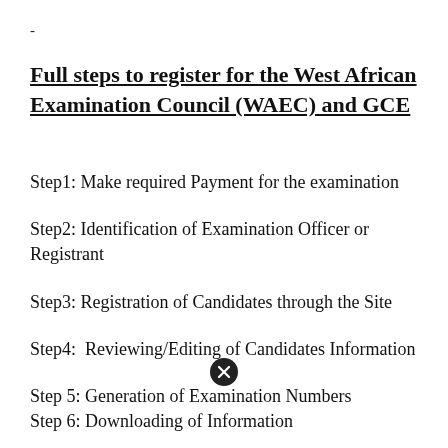-
Full steps to register for the West African Examination Council (WAEC) and GCE
Step1: Make required Payment for the examination
Step2: Identification of Examination Officer or Registrant
Step3: Registration of Candidates through the Site
Step4:  Reviewing/Editing of Candidates Information
Step 5: Generation of Examination Numbers
Step 6: Downloading of Information